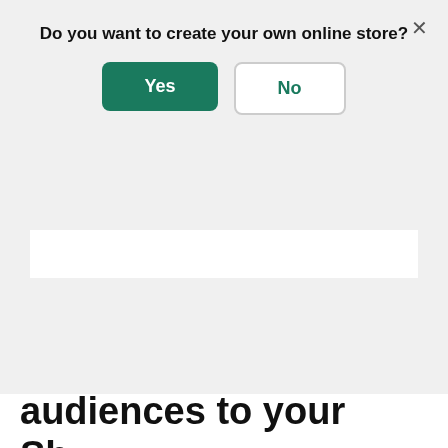Do you want to create your own online store?
Yes
No
Curbside Pickup: A Complete Tutorial for Retailers
Local Delivery: Sell and Deliver to Nearby Customers
Going beyond the keyword: adding audiences to your Sh...